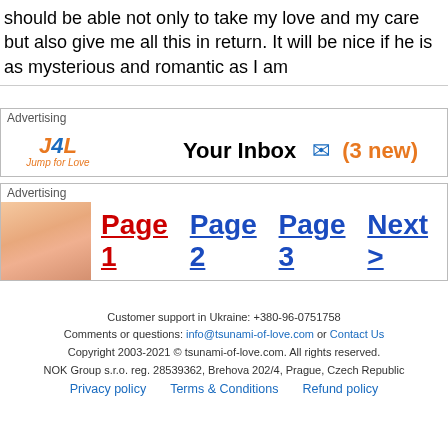should be able not only to take my love and my care but also give me all this in return. It will be nice if he is as mysterious and romantic as I am
[Figure (infographic): J4L Jump for Love advertisement banner with inbox notification: Your Inbox (3 new)]
[Figure (infographic): Advertisement with thumbnail image and pagination links: Page 1 (current, red), Page 2, Page 3, Next >]
Customer support in Ukraine: +380-96-0751758
Comments or questions: info@tsunami-of-love.com or Contact Us
Copyright 2003-2021 © tsunami-of-love.com. All rights reserved.
NOK Group s.r.o. reg. 28539362, Brehova 202/4, Prague, Czech Republic
Privacy policy   Terms & Conditions   Refund policy